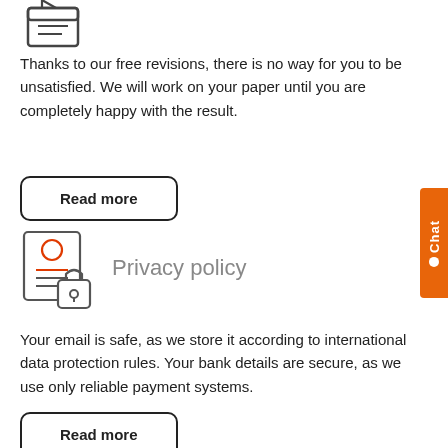[Figure (illustration): Icon of a document with speech bubble at the top]
Thanks to our free revisions, there is no way for you to be unsatisfied. We will work on your paper until you are completely happy with the result.
Read more
[Figure (illustration): Icon of a person/user with a lock, representing privacy policy]
Privacy policy
Your email is safe, as we store it according to international data protection rules. Your bank details are secure, as we use only reliable payment systems.
Read more
[Figure (illustration): Partial icon visible at bottom of page]